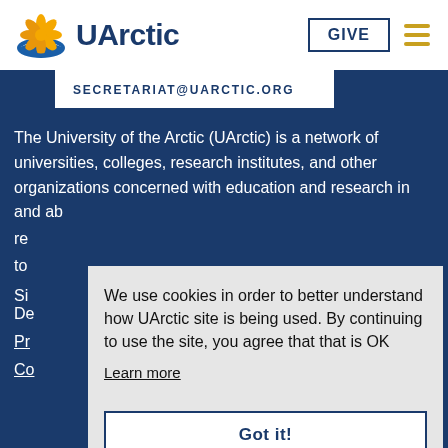UArctic | GIVE
SECRETARIAT@UARCTIC.ORG
The University of the Arctic (UArctic) is a network of universities, colleges, research institutes, and other organizations concerned with education and research in and about the North. UArctic provides strength in numbers for its member institutions and by doing so, creates resources and opportunities... Si... De...
We use cookies in order to better understand how UArctic site is being used. By continuing to use the site, you agree that that is OK
Learn more
Got it!
Pr...
Co...